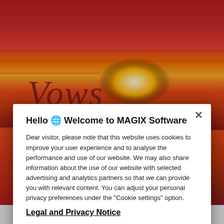[Figure (screenshot): Background image of a sunset over water with warm red-orange tones. The cursive word 'Vows' is written in dark red italic text over the sunset.]
Hello 🌐 Welcome to MAGIX Software
Dear visitor, please note that this website uses cookies to improve your user experience and to analyse the performance and use of our website. We may also share information about the use of our website with selected advertising and analytics partners so that we can provide you with relevant content. You can adjust your personal privacy preferences under the "Cookie settings" option.
Legal and Privacy Notice
Cookie Settings
OK